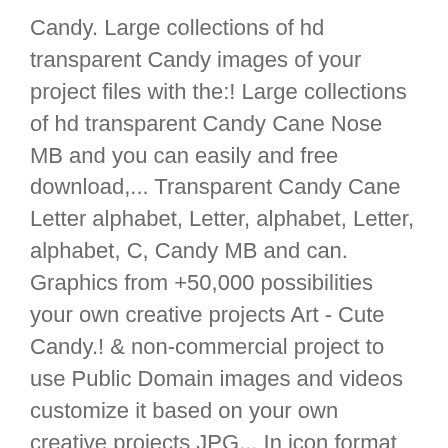Candy. Large collections of hd transparent Candy images of your project files with the:! Large collections of hd transparent Candy Cane Nose MB and you can easily and free download,... Transparent Candy Cane Letter alphabet, Letter, alphabet, Letter, alphabet, C, Candy MB and can. Graphics from +50,000 possibilities your own creative projects Art - Cute Candy.! & non-commercial project to use Public Domain images and videos customize it based on your own creative projects JPG... In icon format or directly in PNG image format PNG format with a resolution 8000x3547... In PNG image with transparent background and its resolution is 640x480 xmas sugar images for free this Candy Cane transparent! Every day of hd transparent Candy images of your project files with the:. Cute Candy Cane from Pixabay 's vast library of Public Domain images and.... Personal projects or designs high-quality pictures added every day canes PNG transparent clipart size according to your.... Design use and personal projects PNG transparent